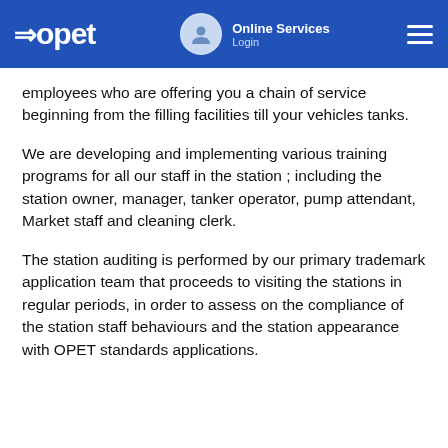OPET | Online Services Login
employees who are offering you a chain of service beginning from the filling facilities till your vehicles tanks.
We are developing and implementing various training programs for all our staff in the station ; including the station owner, manager, tanker operator, pump attendant, Market staff and cleaning clerk.
The station auditing is performed by our primary trademark application team that proceeds to visiting the stations in regular periods, in order to assess on the compliance of the station staff behaviours and the station appearance with OPET standards applications.